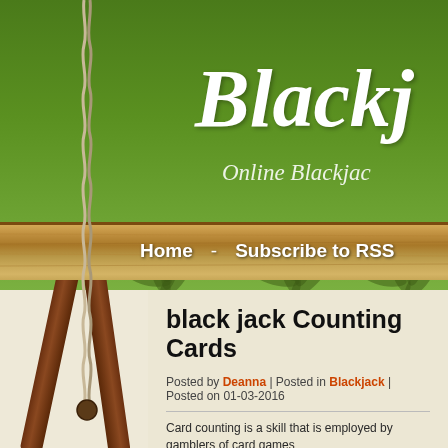[Figure (screenshot): Blackjack website header with green gradient background, decorative leaf pattern, white italic serif site title 'Black j' (cropped), subtitle 'Online Blackjac' (cropped), wood-textured navigation bar with rope/easel decoration]
Home - Subscribe to RSS
black jack Counting Cards
Posted by Deanna | Posted in Blackjack | Posted on 01-03-2016
Card counting is a skill that is employed by gamblers of card games